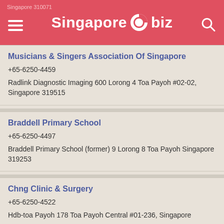Singapore 310071 — Singapore.biz
Musicians & Singers Association Of Singapore
+65-6250-4459
Radlink Diagnostic Imaging 600 Lorong 4 Toa Payoh #02-02, Singapore 319515
Braddell Primary School
+65-6250-4497
Braddell Primary School (former) 9 Lorong 8 Toa Payoh Singapore 319253
Chng Clinic & Surgery
+65-6250-4522
Hdb-toa Payoh 178 Toa Payoh Central #01-236, Singapore